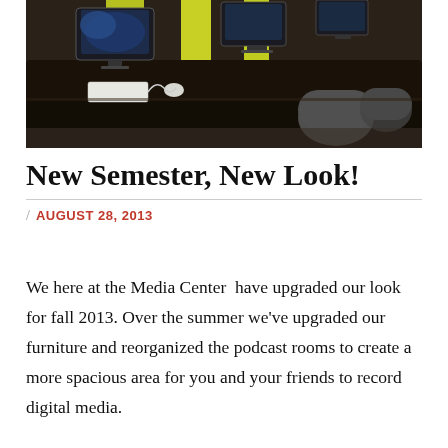[Figure (photo): Photo of a media center computer lab with Apple iMac computers on dark desks, yellow accent wall panels, and office chairs on carpeted floor.]
New Semester, New Look!
AUGUST 28, 2013
We here at the Media Center  have upgraded our look for fall 2013. Over the summer we've upgraded our furniture and reorganized the podcast rooms to create a more spacious area for you and your friends to record digital media.